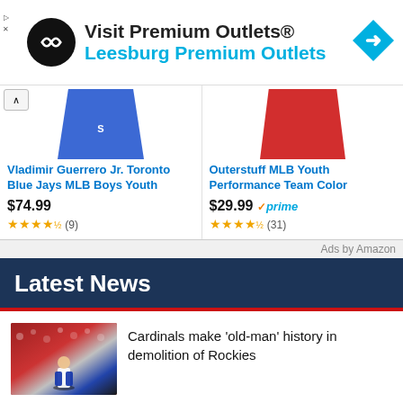[Figure (infographic): Ad banner: Premium Outlets logo (black circle with infinity-like symbol), text 'Visit Premium Outlets®' and 'Leesburg Premium Outlets' in blue, navigation arrow icon on right]
Vladimir Guerrero Jr. Toronto Blue Jays MLB Boys Youth
$74.99 ★★★★ (9)
Outerstuff MLB Youth Performance Team Color
$29.99 ✓prime ★★★★½ (31)
Ads by Amazon
Latest News
Cardinals make 'old-man' history in demolition of Rockies